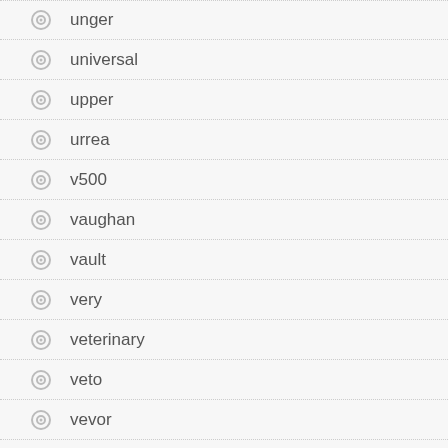unger
universal
upper
urrea
v500
vaughan
vault
very
veterinary
veto
vevor